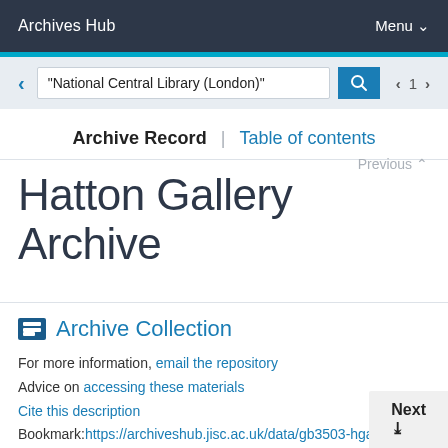Archives Hub | Menu
"National Central Library (London)"
Archive Record | Table of contents
Previous
Hatton Gallery Archive
Archive Collection
For more information, email the repository
Advice on accessing these materials
Cite this description
Bookmark:https://archiveshub.jisc.ac.uk/data/gb3503-hga